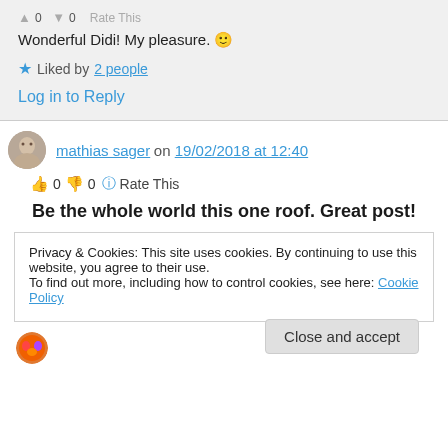0  0  Rate This
Wonderful Didi! My pleasure. 🙂
Liked by 2 people
Log in to Reply
mathias sager on 19/02/2018 at 12:40
👍 0 👎 0 ℹ️ Rate This
Be the whole world this one roof. Great post!
Privacy & Cookies: This site uses cookies. By continuing to use this website, you agree to their use. To find out more, including how to control cookies, see here: Cookie Policy
Close and accept